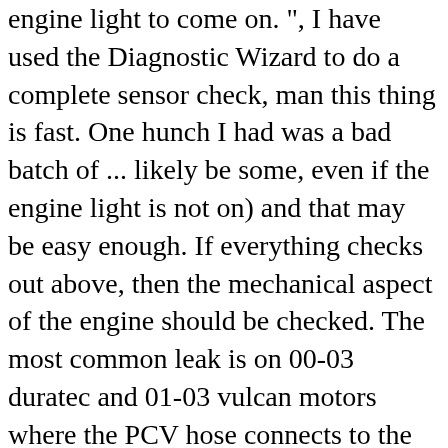engine light to come on. ", I have used the Diagnostic Wizard to do a complete sensor check, man this thing is fast. One hunch I had was a bad batch of ... likely be some, even if the engine light is not on) and that may be easy enough. If everything checks out above, then the mechanical aspect of the engine should be checked. The most common leak is on 00-03 duratec and 01-03 vulcan motors where the PCV hose connects to the intake manifold with the PCV elbow.. â█¢ Lack of tune-ups is another common reason for the Check Engine light to come on. The check engine light came on throwing code p0305 which is a misfire in cylinder 5. The TPS tells the computer how far the throttle is open. Hesitation/misfire at idle or under load; Causes. I love the snapshot and real-time views. 1997 Chrysler Intrepid, 3.5L V6, $75), the TPSâ█¦throttle position